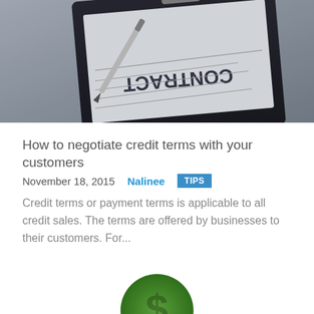[Figure (photo): A clipboard with a CONTRACT document on a desk, with a pen beside it, photographed from above at an angle.]
How to negotiate credit terms with your customers
November 18, 2015   Nalinee   TIPS
Credit terms or payment terms is applicable to all credit sales. The terms are offered by businesses to their customers. For...
[Figure (photo): A topiary tree shaped like a dollar sign being watered by a hand holding a watering can.]